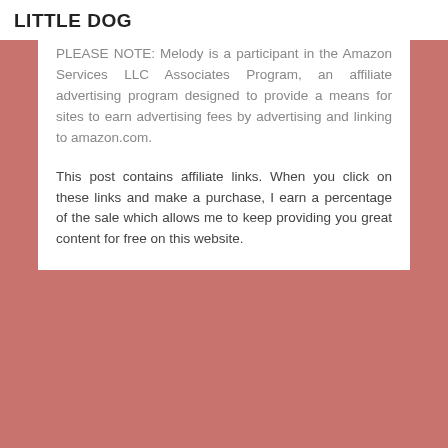LITTLE DOG
PLEASE NOTE: Melody is a participant in the Amazon Services LLC Associates Program, an affiliate advertising program designed to provide a means for sites to earn advertising fees by advertising and linking to amazon.com.
This post contains affiliate links. When you click on these links and make a purchase, I earn a percentage of the sale which allows me to keep providing you great content for free on this website.